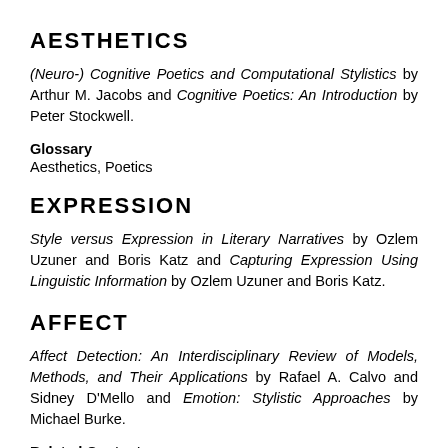AESTHETICS
(Neuro-) Cognitive Poetics and Computational Stylistics by Arthur M. Jacobs and Cognitive Poetics: An Introduction by Peter Stockwell.
Glossary
Aesthetics, Poetics
EXPRESSION
Style versus Expression in Literary Narratives by Ozlem Uzuner and Boris Katz and Capturing Expression Using Linguistic Information by Ozlem Uzuner and Boris Katz.
AFFECT
Affect Detection: An Interdisciplinary Review of Models, Methods, and Their Applications by Rafael A. Calvo and Sidney D'Mello and Emotion: Stylistic Approaches by Michael Burke.
Related Content
Interactive Narrative and Affect, Linguistics § Affect